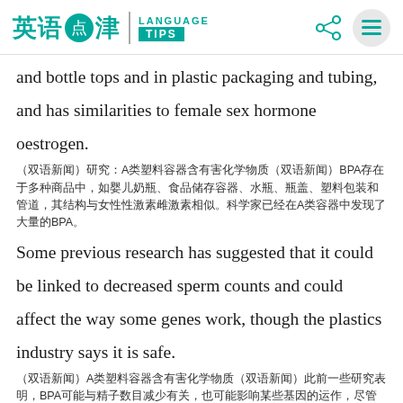英语点津 | LANGUAGE TIPS
and bottle tops and in plastic packaging and tubing, and has similarities to female sex hormone oestrogen.
（双语新闻）研究：A类塑料容器含有害化学物质（双语新闻）BPA存在于多种商品中，如婴儿奶瓶、食品储存容器、水瓶、瓶盖、塑料包装和管道，其结构与女性性激素雌激素相似。科学家已经在A类容器中发现了大量的BPA。
Some previous research has suggested that it could be linked to decreased sperm counts and could affect the way some genes work, though the plastics industry says it is safe.
（双语新闻）A类塑料容器含有害化学物质（双语新闻）此前一些研究表明，BPA可能与精子数目减少有关，也可能影响某些基因的运作，尽管塑料工业认为其是安全的。
Participants in the study, students at Devon schools, tried to limit their contact with the chemical for a week through avoiding plastic packaging which contains BPA, switching to stainless steel and glass food and drink storage containers, and